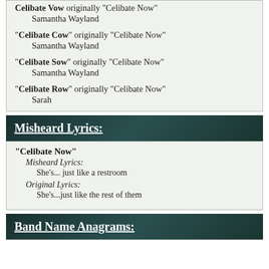"Celibate Vow" originally "Celibate Now" Samantha Wayland
"Celibate Cow" originally "Celibate Now" Samantha Wayland
"Celibate Sow" originally "Celibate Now" Samantha Wayland
"Celibate Row" originally "Celibate Now" Sarah
Misheard Lyrics:
"Celibate Now"
Misheard Lyrics:
She's... just like a restroom
Original Lyrics:
She's...just like the rest of them
Band Name Anagrams: